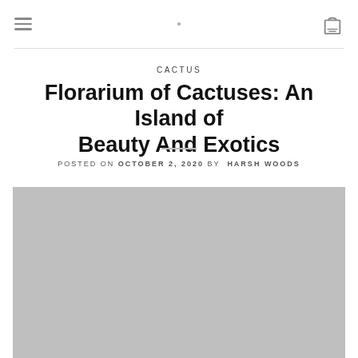≡  ·  🛍
CACTUS
Florarium of Cactuses: An Island of Beauty And Exotics
POSTED ON OCTOBER 2, 2020 BY HARSH WOODS
[Figure (photo): Large grey placeholder image for the cactus florarium article]